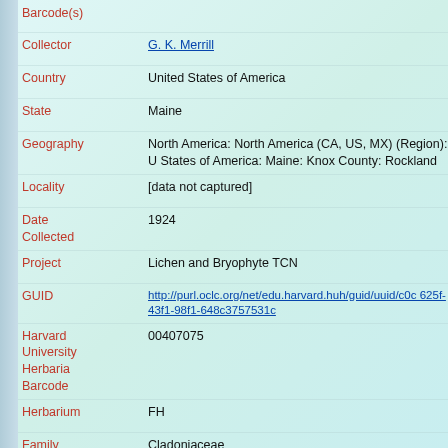Barcode(s)
| Field | Value |
| --- | --- |
| Collector | G. K. Merrill |
| Country | United States of America |
| State | Maine |
| Geography | North America: North America (CA, US, MX) (Region): United States of America: Maine: Knox County: Rockland |
| Locality | [data not captured] |
| Date Collected | 1924 |
| Project | Lichen and Bryophyte TCN |
| GUID | http://purl.oclc.org/net/edu.harvard.huh/guid/uuid/c0c...625f-43f1-98f1-648c3757531c |
| Harvard University Herbaria Barcode | 00407075 |
| Herbarium | FH |
| Family | Cladoniaceae |
| Determination | Cladonia uncialis (Linnaeus) Weber ex F. H. Wiggers |
| Determination Remarks | [is filed under name] |
| Family | Cladoniaceae |
| Determination | Cladonia uncialis (Linnaeus) Weber ex F. H. Wi... |